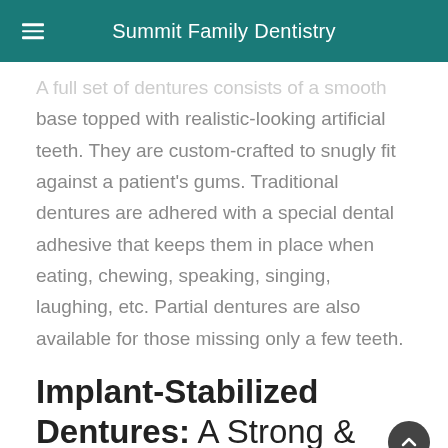Summit Family Dentistry
A full set of dentures consists of a smooth base topped with realistic-looking artificial teeth. They are custom-crafted to snugly fit against a patient's gums. Traditional dentures are adhered with a special dental adhesive that keeps them in place when eating, chewing, speaking, singing, laughing, etc. Partial dentures are also available for those missing only a few teeth.
Implant-Stabilized Dentures: A Strong & Durable Smile